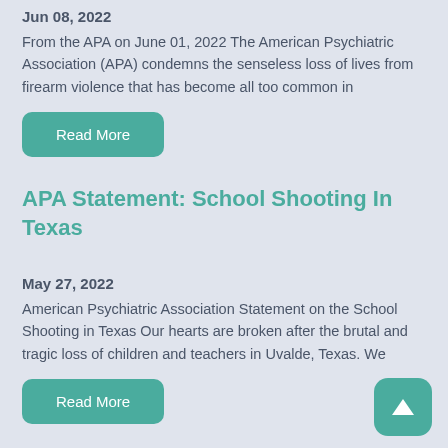Jun 08, 2022
From the APA on June 01, 2022 The American Psychiatric Association (APA) condemns the senseless loss of lives from firearm violence that has become all too common in
[Figure (other): Teal 'Read More' button]
APA Statement: School Shooting In Texas
May 27, 2022
American Psychiatric Association Statement on the School Shooting in Texas Our hearts are broken after the brutal and tragic loss of children and teachers in Uvalde, Texas. We
[Figure (other): Teal 'Read More' button]
[Figure (other): Teal scroll-to-top button with upward triangle arrow]